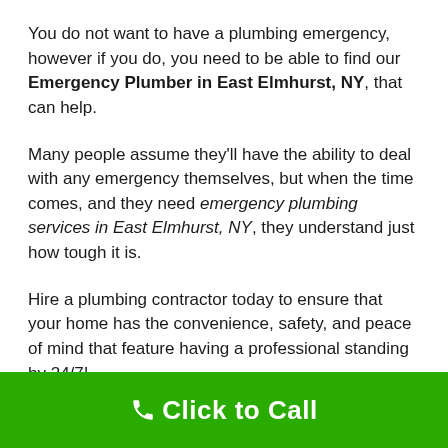You do not want to have a plumbing emergency, however if you do, you need to be able to find our Emergency Plumber in East Elmhurst, NY, that can help.
Many people assume they'll have the ability to deal with any emergency themselves, but when the time comes, and they need emergency plumbing services in East Elmhurst, NY, they understand just how tough it is.
Hire a plumbing contractor today to ensure that your home has the convenience, safety, and peace of mind that feature having a professional standing by 24/7!
We offer emergency plumbing services for all types of emergencies, such as clogged toilets or flooding basements.
Click to Call